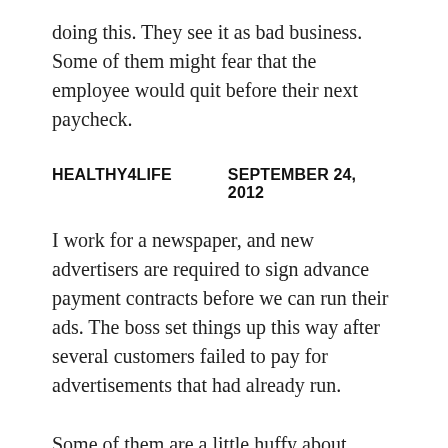doing this. They see it as bad business. Some of them might fear that the employee would quit before their next paycheck.
HEALTHY4LIFE     SEPTEMBER 24, 2012
I work for a newspaper, and new advertisers are required to sign advance payment contracts before we can run their ads. The boss set things up this way after several customers failed to pay for advertisements that had already run.
Some of them are a little huffy about having to pay up front for something that hasn't run yet, but the ones that complain are generally the ones who would have skipped out on their bills.